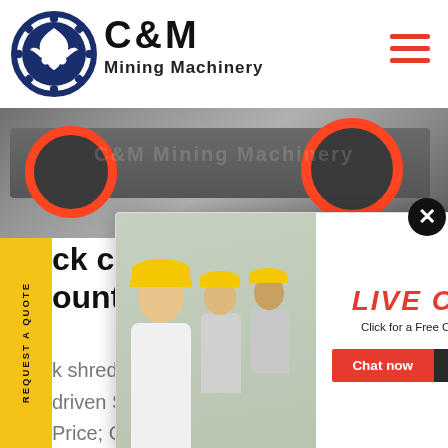[Figure (logo): C&M Mining Machinery logo with eagle in gear circle, navy blue and black branding]
[Figure (photo): Industrial mining machinery banner photo showing large wheels/rollers with orange trim]
[Figure (screenshot): Live chat popup overlay with construction workers in yellow hard hats, red LIVE CHAT title, Chat now and Chat later buttons]
[Figure (photo): Right panel showing Hours Online blue banner, female agent with headset photo, Click to Chat button]
REQUEST A QUOTE (sidebar)
ck cru
ounte
k shredder asphalt shredder for tractors Tractor driven Stone Crusher The FAE Price; Crushers NEW USED GrinderCrusherScreen. Aug 18 2016 Cone Crushers for rock concrete Southeast USA HB Notes 36" x 50 Tr
Enquiry